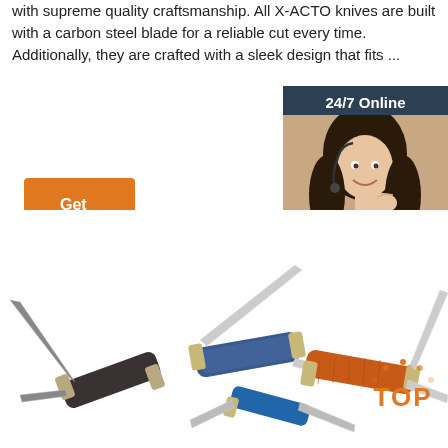with supreme quality craftsmanship. All X-ACTO knives are built with a carbon steel blade for a reliable cut every time. Additionally, they are crafted with a sleek design that fits ...
Get Price
[Figure (infographic): 24/7 Online customer support banner with a photo of a woman wearing a headset and text: '24/7 Online', 'Click here for free chat!', and a 'QUOTATION' button]
[Figure (photo): Collection of folding pocket knives with various colored handles (dark blue speckled, orange/brown, blue) arranged on a white background]
[Figure (infographic): Orange 'TOP' badge with dotted arc above it in the bottom right corner]